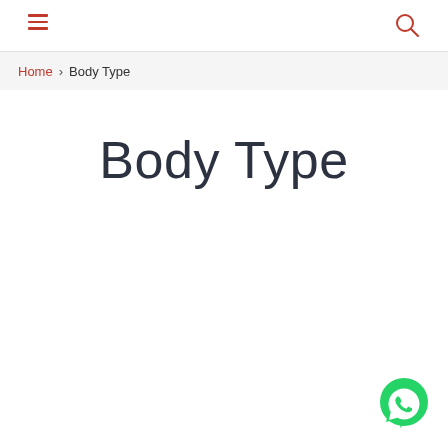Navigation bar with hamburger menu and search icon
Home › Body Type
Body Type
[Figure (illustration): WhatsApp floating action button in bottom-right corner]